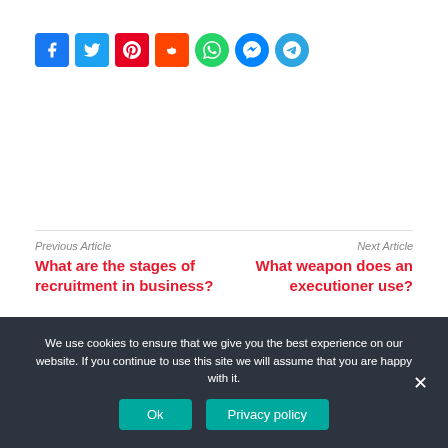[Figure (other): Social sharing icon buttons: Facebook (blue), Twitter (light blue), Pinterest (red), Reddit (orange-red), WhatsApp (green), Messenger (blue, circular), Telegram (blue, circular)]
Previous Article
What are the stages of recruitment in business?
Next Article
What weapon does an executioner use?
We use cookies to ensure that we give you the best experience on our website. If you continue to use this site we will assume that you are happy with it.